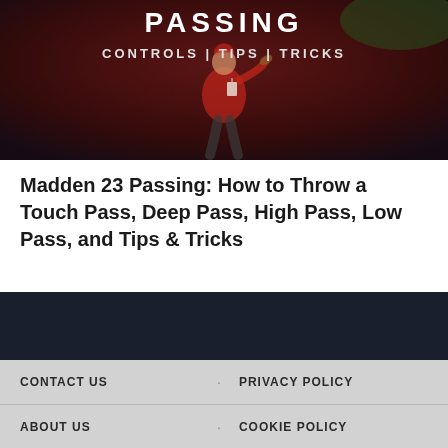[Figure (photo): Hero banner image showing a football quarterback in a red jersey about to throw a pass, with dark red background. Overlaid text reads PASSING and CONTROLS | TIPS | TRICKS]
Madden 23 Passing: How to Throw a Touch Pass, Deep Pass, High Pass, Low Pass, and Tips & Tricks
CONTACT US   PRIVACY POLICY   ABOUT US   COOKIE POLICY